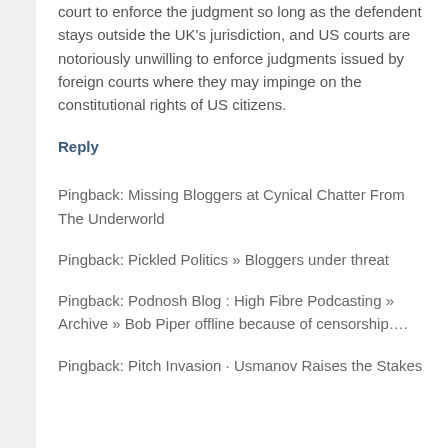court to enforce the judgment so long as the defendent stays outside the UK's jurisdiction, and US courts are notoriously unwilling to enforce judgments issued by foreign courts where they may impinge on the constitutional rights of US citizens.
Reply
Pingback: Missing Bloggers at Cynical Chatter From The Underworld
Pingback: Pickled Politics » Bloggers under threat
Pingback: Podnosh Blog : High Fibre Podcasting » Archive » Bob Piper offline because of censorship….
Pingback: Pitch Invasion · Usmanov Raises the Stakes